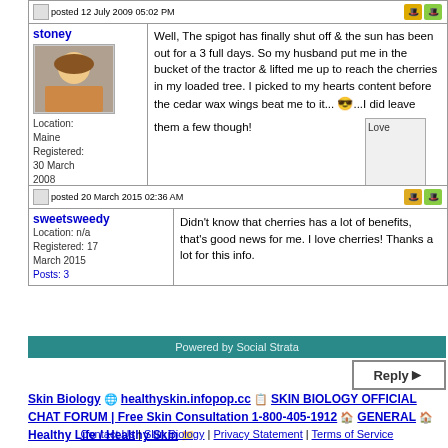stoney | posted 12 July 2009 05:02 PM
Location: Maine
Registered: 30 March 2008
Posts: 2846
Well, The spigot has finally shut off & the sun has been out for a 3 full days. So my husband put me in the bucket of the tractor & lifted me up to reach the cherries in my loaded tree. I picked to my hearts content before the cedar wax wings beat me to it... 😎...I did leave them a few though!

Time for pie...
sweetsweedy | posted 20 March 2015 02:36 AM
Location: n/a
Registered: 17 March 2015
Posts: 3
Didn't know that cherries has a lot of benefits, that's good news for me. I love cherries! Thanks a lot for this info.
Powered by Social Strata
Skin Biology  healthyskin.infopop.cc  SKIN BIOLOGY OFFICIAL CHAT FORUM | Free Skin Consultation 1-800-405-1912  GENERAL  Healthy Life / Healthy Skin
Cherries
Contact Us | Skin Biology | Privacy Statement | Terms of Service